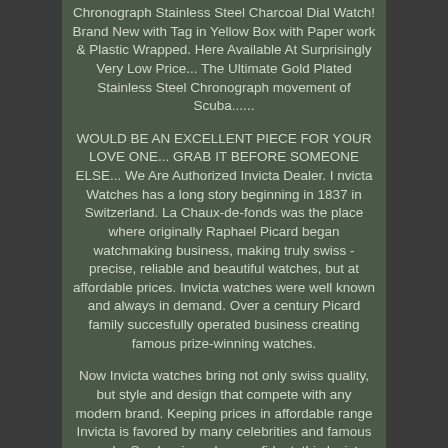Chronograph Stainless Steel Charcoal Dial Watch! Brand New with Tag in Yellow Box with Paper work & Plastic Wrapped. Here Available At Surprisingly Very Low Price... The Ultimate Gold Plated Stainless Steel Chronograph movement of Scuba......
WOULD BE AN EXCELLENT PIECE FOR YOUR LOVE ONE... GRAB IT BEFORE SOMEONE ELSE... We Are Authorized Invicta Dealer. I nvicta Watches has a long story beginning in 1837 in Switzerland. La Chaux-de-fonds was the place where originally Raphael Picard began watchmaking business, making truly swiss - precise, reliable and beautiful watches, but at affordable prices. Invicta watches were well known and always in demand. Over a century Picard family succesfully operated business creating famous prize-winning watches.
Now Invicta watches bring not only swiss quality, but style and design that compete with any modern brand. Keeping prices in affordable range Invicta is favored by many celebrities and famous people. So classic and so confident, this Invicta Pro Diver Scuba personifies power and performance! Built with a